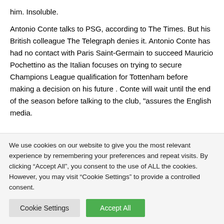him. Insoluble.
Antonio Conte talks to PSG, according to The Times. But his British colleague The Telegraph denies it. Antonio Conte has had no contact with Paris Saint-Germain to succeed Mauricio Pochettino as the Italian focuses on trying to secure Champions League qualification for Tottenham before making a decision on his future . Conte will wait until the end of the season before talking to the club, "assures the English media.
We use cookies on our website to give you the most relevant experience by remembering your preferences and repeat visits. By clicking “Accept All”, you consent to the use of ALL the cookies. However, you may visit "Cookie Settings" to provide a controlled consent.